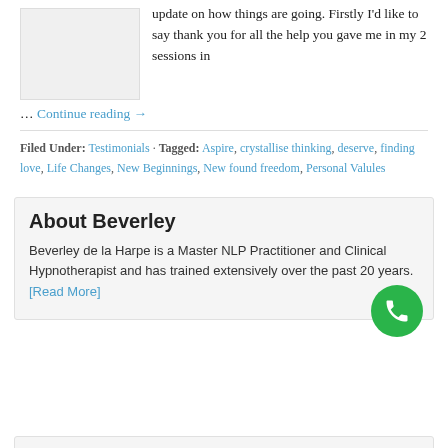[Figure (photo): A placeholder image box (light gray rectangle)]
update on how things are going. Firstly I'd like to say thank you for all the help you gave me in my 2 sessions in
… Continue reading →
Filed Under: Testimonials · Tagged: Aspire, crystallise thinking, deserve, finding love, Life Changes, New Beginnings, New found freedom, Personal Valules
About Beverley
Beverley de la Harpe is a Master NLP Practitioner and Clinical Hypnotherapist and has trained extensively over the past 20 years. [Read More]